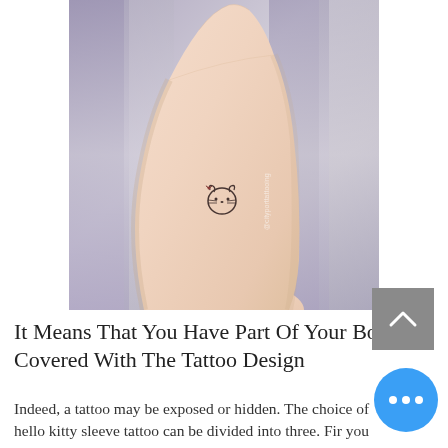[Figure (photo): A close-up photo of a person's wrist showing a small Hello Kitty tattoo on the inner wrist. The background shows blurred curtains in purple and gray tones. A watermark '@cityporttattooing' is visible on the photo.]
It Means That You Have Part Of Your Body Covered With The Tattoo Design
Indeed, a tattoo may be exposed or hidden. The choice of hello kitty sleeve tattoo can be divided into three. Fir you may select a full sleeve tattoo cover part of your skin with fully artistic